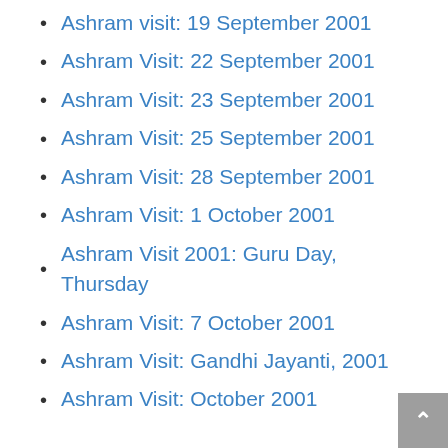Ashram visit: 19 September 2001
Ashram Visit: 22 September 2001
Ashram Visit: 23 September 2001
Ashram Visit: 25 September 2001
Ashram Visit: 28 September 2001
Ashram Visit: 1 October 2001
Ashram Visit 2001: Guru Day, Thursday
Ashram Visit: 7 October 2001
Ashram Visit: Gandhi Jayanti, 2001
Ashram Visit: October 2001
2012 and all that
Now the Lord has left his physical form, and is with us in his light-body, and most